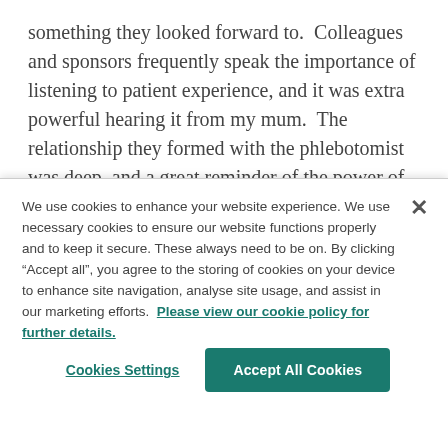something they looked forward to.  Colleagues and sponsors frequently speak the importance of listening to patient experience, and it was extra powerful hearing it from my mum.  The relationship they formed with the phlebotomist was deep, and a great reminder of the power of human connection, that clinical research is clinical CARE.  As COVID continued, the protocol was
We use cookies to enhance your website experience. We use necessary cookies to ensure our website functions properly and to keep it secure. These always need to be on. By clicking “Accept all”, you agree to the storing of cookies on your device to enhance site navigation, analyse site usage, and assist in our marketing efforts. Please view our cookie policy for further details.
Cookies Settings
Accept All Cookies